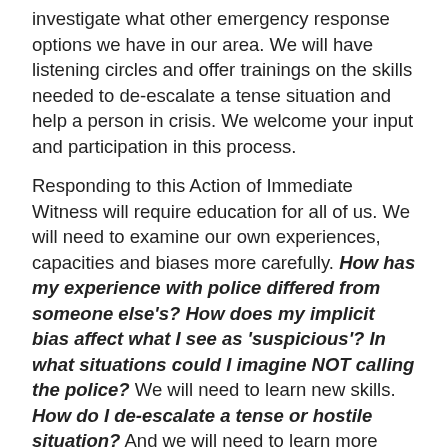investigate what other emergency response options we have in our area. We will have listening circles and offer trainings on the skills needed to de-escalate a tense situation and help a person in crisis. We welcome your input and participation in this process.
Responding to this Action of Immediate Witness will require education for all of us. We will need to examine our own experiences, capacities and biases more carefully. How has my experience with police differed from someone else's? How does my implicit bias affect what I see as 'suspicious'? In what situations could I imagine NOT calling the police? We will need to learn new skills. How do I de-escalate a tense or hostile situation? And we will need to learn more about our wider community's capacity to help in times of crisis or distress. What local organizations in Mercer and Bucks County can I call on to help in a variety of situations?
Finding answers to these questions will not only leave us a